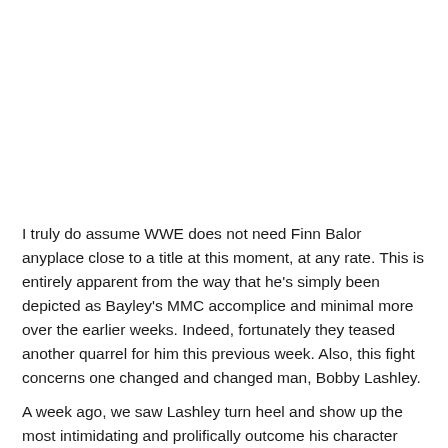I truly do assume WWE does not need Finn Balor anyplace close to a title at this moment, at any rate. This is entirely apparent from the way that he's simply been depicted as Bayley's MMC accomplice and minimal more over the earlier weeks. Indeed, fortunately they teased another quarrel for him this previous week. Also, this fight concerns one changed and changed man, Bobby Lashley.
A week ago, we saw Lashley turn heel and show up the most intimidating and prolifically outcome his character at...